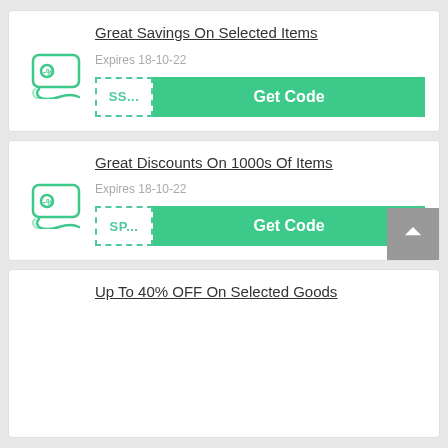Great Savings On Selected Items
Expires 18-10-22
SS... Get Code
Great Discounts On 1000s Of Items
Expires 18-10-22
SP... Get Code
Up To 40% OFF On Selected Goods